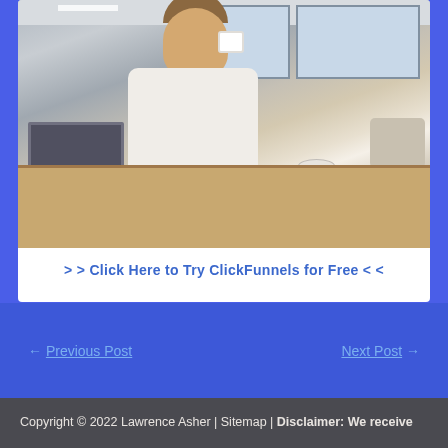[Figure (photo): A smiling man in a white shirt sitting at a wooden desk with a laptop, holding a white coffee cup, in a modern office with large windows in the background. Books and a plate are visible on the desk.]
> > Click Here to Try ClickFunnels for Free < <
← Previous Post
Next Post →
Copyright © 2022 Lawrence Asher | Sitemap | Disclaimer: We receive